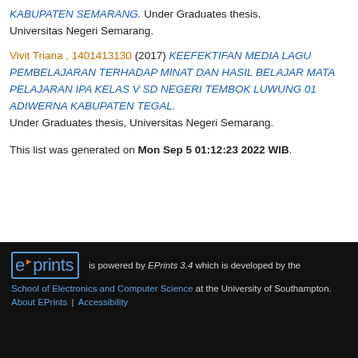KABUPATEN SEMARANG. Under Graduates thesis, Universitas Negeri Semarang.
Vivit Triana , 1401413130 (2017) KEEFEKTIFAN MEDIA LAGU PEMBELAJARAN TERHADAP MINAT DAN HASIL BELAJAR MATA PELAJARAN IPA KELAS V SD NEGERI TEMBOK LUWUNG 01 ADIWERNA KABUPATEN TEGAL. Under Graduates thesis, Universitas Negeri Semarang.
This list was generated on Mon Sep 5 01:12:23 2022 WIB.
is powered by EPrints 3.4 which is developed by the School of Electronics and Computer Science at the University of Southampton. About EPrints | Accessibility